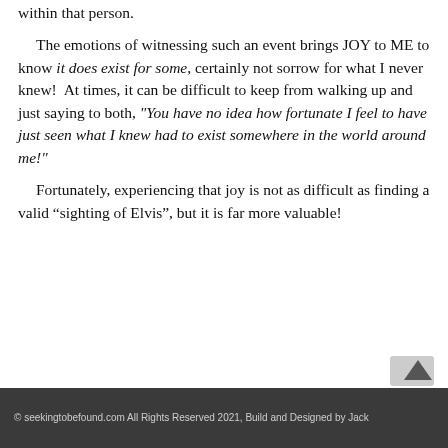within that person.

The emotions of witnessing such an event brings JOY to ME to know it does exist for some, certainly not sorrow for what I never knew!  At times, it can be difficult to keep from walking up and just saying to both, "You have no idea how fortunate I feel to have just seen what I knew had to exist somewhere in the world around me!"

Fortunately, experiencing that joy is not as difficult as finding a valid “sighting of Elvis”, but it is far more valuable!
© seekingtobefound.com All Rights Reserved 2021, Build and Designed by Jack